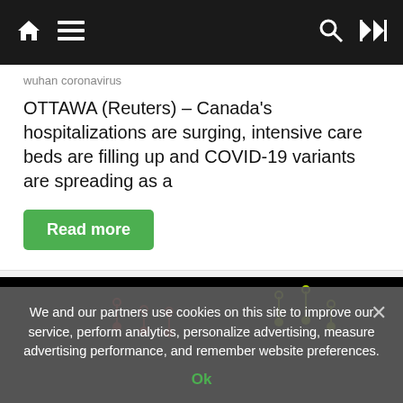Navigation bar with home, menu, search, and shuffle icons
wuhan coronavirus
OTTAWA (Reuters) – Canada's hospitalizations are surging, intensive care beds are filling up and COVID-19 variants are spreading as a
Read more
[Figure (map): Dark background map with colored location pin markers in red, yellow/green, and pink/magenta colors scattered across the image representing COVID-19 data points]
We and our partners use cookies on this site to improve our service, perform analytics, personalize advertising, measure advertising performance, and remember website preferences.
Ok